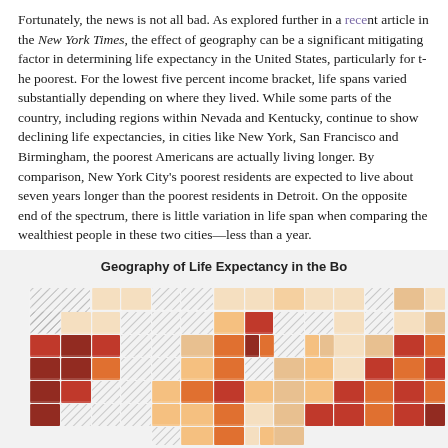Fortunately, the news is not all bad. As explored further in a recent article in the New York Times, the effect of geography can be a significant mitigating factor in determining life expectancy in the United States, particularly for the poor. For the lowest five percent income bracket, life spans varied substantially depending on where they lived. While some parts of the country, including regions within Nevada and Kentucky, continue to show declining life expectancies, in cities like New York, San Francisco and Birmingham, the poorest Americans are actually living longer. By comparison, New York City's poorest residents are expected to live about seven years longer than the poorest residents in Detroit. On the opposite end of the spectrum, there is little variation in life span when comparing the wealthiest people in these two cities—less than a year.
[Figure (map): Choropleth map of the United States showing Geography of Life Expectancy in the Bottom income bracket, with counties shaded from light cream/yellow to dark red indicating varying life expectancy levels, and hatched areas indicating data not available or suppressed.]